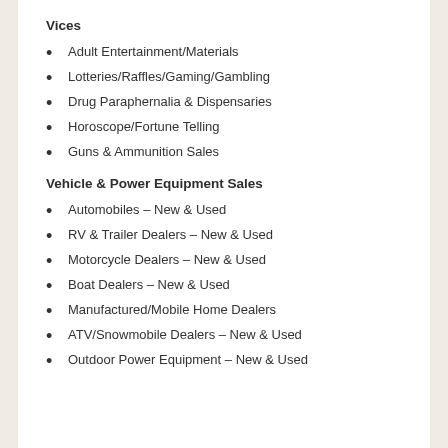Vices
Adult Entertainment/Materials
Lotteries/Raffles/Gaming/Gambling
Drug Paraphernalia & Dispensaries
Horoscope/Fortune Telling
Guns & Ammunition Sales
Vehicle & Power Equipment Sales
Automobiles – New & Used
RV & Trailer Dealers – New & Used
Motorcycle Dealers – New & Used
Boat Dealers – New & Used
Manufactured/Mobile Home Dealers
ATV/Snowmobile Dealers – New & Used
Outdoor Power Equipment – New & Used